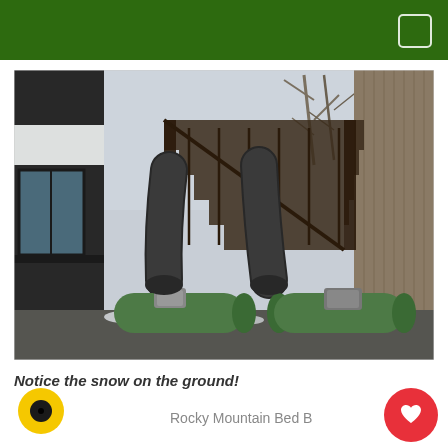[Figure (photo): Outdoor photo showing two green cylindrical blower/heater machines with large flexible black ducts running up along a building wall. There is a wooden staircase structure in the background, a corrugated metal wall on the right, and light snow visible on the ground. Trees are visible in the overcast sky.]
Notice the snow on the ground!
Rocky Mountain Bed B